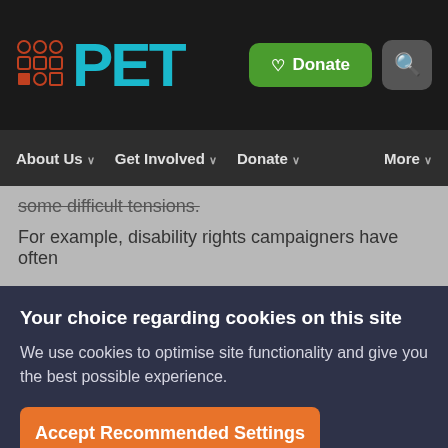[Figure (logo): PET website logo with icon grid and cyan PET text]
About Us   Get Involved   Donate   More
some difficult tensions.
For example, disability rights campaigners have often
Your choice regarding cookies on this site
We use cookies to optimise site functionality and give you the best possible experience.
Accept Recommended Settings
Cookie Preferences